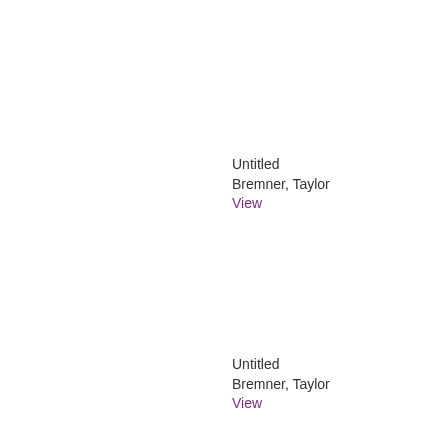Untitled
Bremner, Taylor
View
Untitled
Bremner, Taylor
View